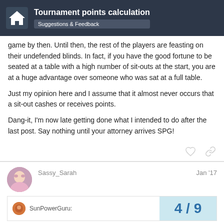Tournament points calculation | Suggestions & Feedback
game by then. Until then, the rest of the players are feasting on their undefended blinds. In fact, if you have the good fortune to be seated at a table with a high number of sit-outs at the start, you are at a huge advantage over someone who was sat at a full table.
Just my opinion here and I assume that it almost never occurs that a sit-out cashes or receives points.
Dang-it, I'm now late getting done what I intended to do after the last post. Say nothing until your attorney arrives SPG!
Sassy_Sarah   Jan '17
SunPowerGuru:   4/9